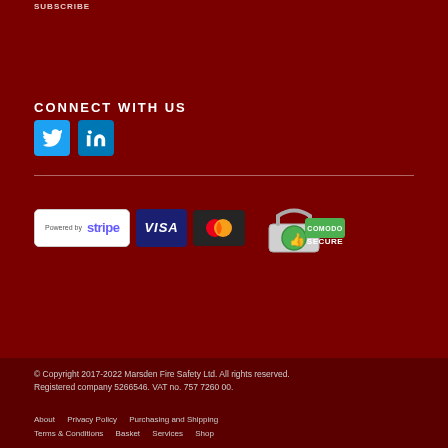SUBSCRIBE
CONNECT WITH US
[Figure (logo): Twitter and LinkedIn social media icon buttons]
[Figure (logo): Payment logos: Powered by Stripe, Visa, Mastercard, and Comodo Secure badge]
© Copyright 2017-2022 Marsden Fire Safety Ltd. All rights reserved. Registered company 5266546. VAT no. 757 7260 00.
About  Privacy Policy  Purchasing and Shipping  Terms & Conditions  Basket  Services  Shop